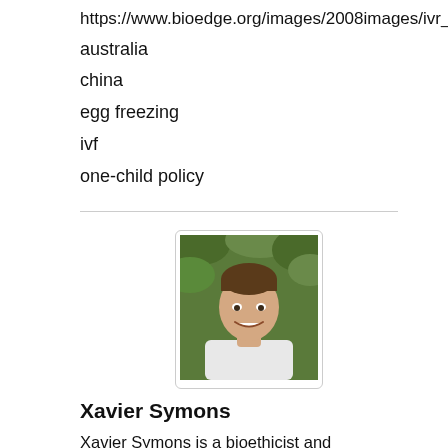https://www.bioedge.org/images/2008images/ivr_chi
australia
china
egg freezing
ivf
one-child policy
[Figure (photo): Headshot photo of Xavier Symons, a man smiling, with green foliage background, wearing a white shirt.]
Xavier Symons
Xavier Symons is a bioethicist and scholar in residence at the Kennedy Institute for Ethics at Georgetown University.